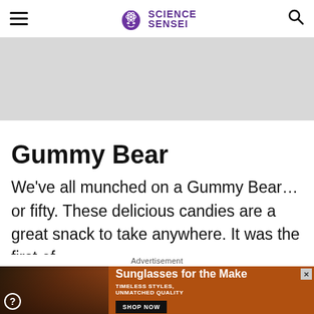Science Sensei
[Figure (other): Gray advertisement banner placeholder]
Gummy Bear
We've all munched on a Gummy Bear… or fifty. These delicious candies are a great snack to take anywhere. It was the first of
Advertisement
[Figure (photo): Advertisement banner showing two women wearing sunglasses with text 'Sunglasses for the Make, TIMELESS STYLES, UNMATCHED QUALITY, SHOP NOW']